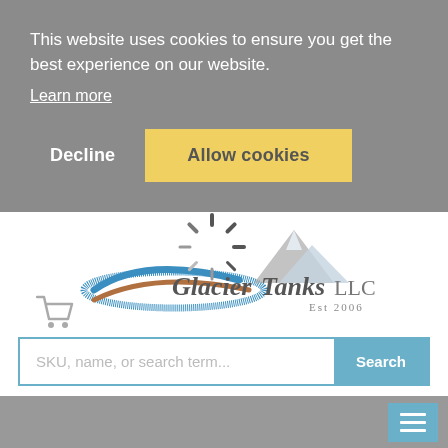This website uses cookies to ensure you get the best experience on our website.
Learn more
Decline
Allow cookies
[Figure (logo): Glacier Tanks LLC Est 2006 logo with mountain, sun rays, and swoosh graphics]
[Figure (illustration): Shopping cart icon]
SKU, name, or search term...
Search
[Figure (illustration): Hamburger menu icon (three horizontal lines) in a teal square button]